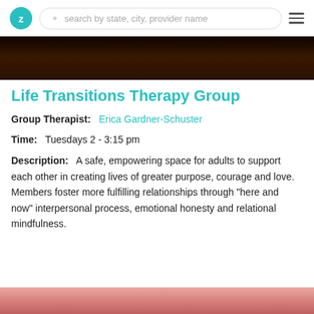Z | search by state, city, provider name
[Figure (photo): Dark brown/black textured background hero image]
Life Transitions Therapy Group
Group Therapist: Erica Gardner-Schuster
Time: Tuesdays 2 - 3:15 pm
Description: A safe, empowering space for adults to support each other in creating lives of greater purpose, courage and love. Members foster more fulfilling relationships through "here and now" interpersonal process, emotional honesty and relational mindfulness.
[Figure (photo): Pink/rose gradient image at bottom of page]